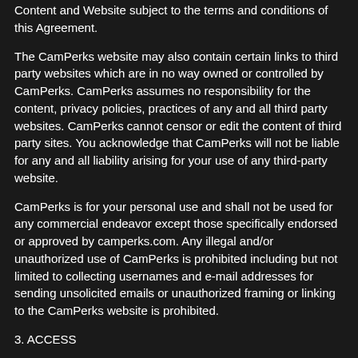Content and Website subject to the terms and conditions of this Agreement.
The CamPerks website may also contain certain links to third party websites which are in no way owned or controlled by CamPerks. CamPerks assumes no responsibility for the content, privacy policies, practices of any and all third party websites. CamPerks cannot censor or edit the content of third party sites. You acknowledge that CamPerks will not be liable for any and all liability arising for your use of any third-party website.
CamPerks is for your personal use and shall not be used for any commercial endeavor except those specifically endorsed or approved by camperks.com. Any illegal and/or unauthorized use of CamPerks is prohibited including but not limited to collecting usernames and e-mail addresses for sending unsolicited emails or unauthorized framing or linking to the CamPerks website is prohibited.
3. ACCESS
In order to use this website, you affirm that you are at least eighteen (18) year of age and/or over the age of majority in the jurisdiction you reside and from which you access the website where the age of majority is greater than eighteen (18) years of age. If you are under